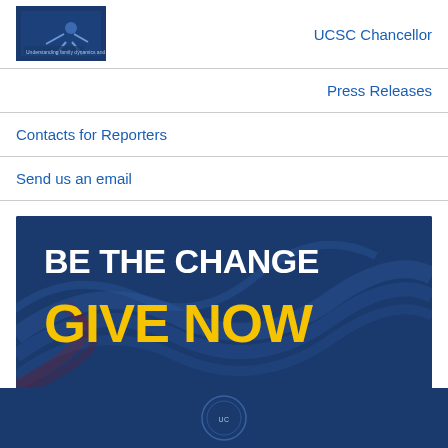[Figure (photo): Small book/report cover image showing a person cross-country skiing, with blue background and small text]
UCSC Chancellor
Press Releases
Contacts for Reporters
Send us an email
[Figure (infographic): Dark blue banner with swirl design lines reading 'BE THE CHANGE' in white bold text and 'GIVE NOW' in large gold/yellow bold text]
UCSC footer bar with logo seal